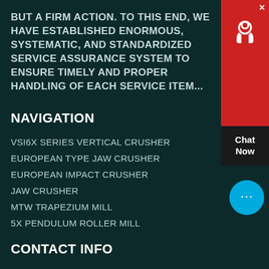BUT A FIRM ACTION. TO THIS END, WE HAVE ESTABLISHED ENORMOUS, SYSTEMATIC, AND STANDARDIZED SERVICE ASSURANCE SYSTEM TO ENSURE TIMELY AND PROPER HANDLING OF EACH SERVICE ITEM...
NAVIGATION
VSI6X SERIES VERTICAL CRUSHER
EUROPEAN TYPE JAW CRUSHER
EUROPEAN IMPACT CRUSHER
JAW CRUSHER
MTW TRAPEZIUM MILL
5X PENDULUM ROLLER MILL
CONTACT INFO
CORPORATE OFFICE ADDRESS: NO.169, SCIENCE (KEXUE) AVENUE, NATIONAL HI-TECH INDUSTRY DEVELOPMENT ZONE